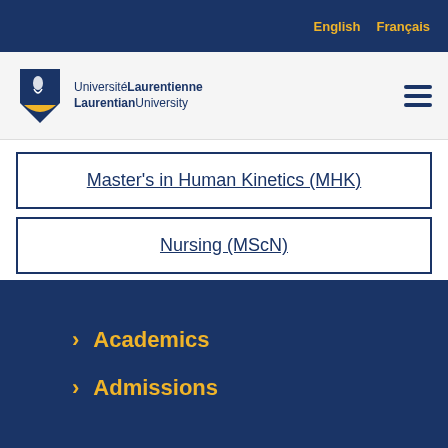English   Français
[Figure (logo): Laurentian University / Université Laurentienne shield logo with wordmark]
Master's in Human Kinetics (MHK)
Nursing (MScN)
Social Work (MSW)
Academics
Admissions